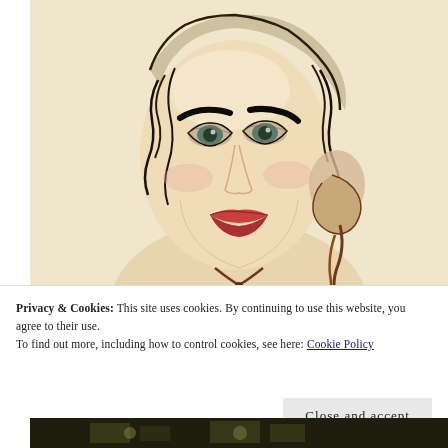[Figure (illustration): A watercolor/ink illustration portrait of a woman with dark curly hair, dramatic eyebrows, green eyes, red lips, and a large decorative earring. The style is loose and expressive with a pale/cream background.]
Privacy & Cookies: This site uses cookies. By continuing to use this website, you agree to their use.
To find out more, including how to control cookies, see here: Cookie Policy
[Figure (photo): A dark, partially visible photograph at the bottom of the page.]